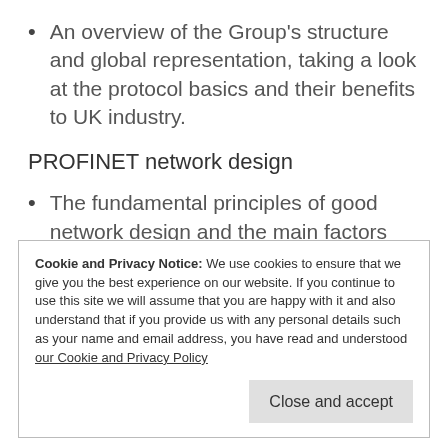An overview of the Group's structure and global representation, taking a look at the protocol basics and their benefits to UK industry.
PROFINET network design
The fundamental principles of good network design and the main factors that must be considered at the design stage of an
Cookie and Privacy Notice: We use cookies to ensure that we give you the best experience on our website. If you continue to use this site we will assume that you are happy with it and also understand that if you provide us with any personal details such as your name and email address, you have read and understood our Cookie and Privacy Policy